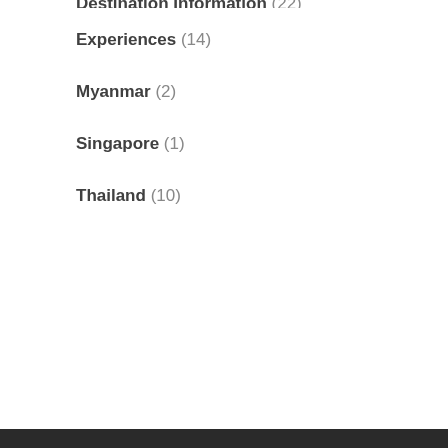Destination Information (22)
Experiences (14)
Myanmar (2)
Singapore (1)
Thailand (10)